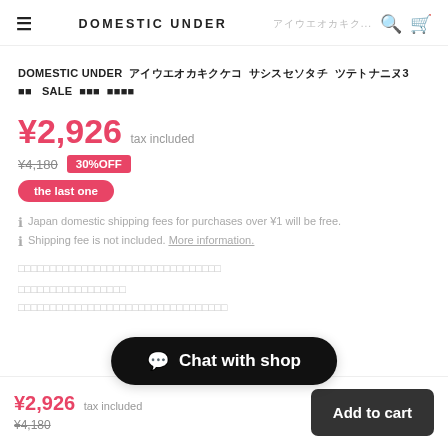DOMESTIC UNDER  ＿＿＿＿＿...
DOMESTIC UNDER  ＿＿＿＿＿＿＿＿＿＿  ＿＿＿＿＿＿＿＿＿  ＿＿＿＿＿＿＿3 ＿＿  SALE  ＿＿＿  ＿＿＿＿
¥2,926 tax included
¥4,180  30%OFF
the last one
Japan domestic shipping fees for purchases over ¥1 will be free.
Shipping fee is not included. More information.
＿＿＿＿＿＿＿＿＿＿＿＿＿＿＿＿＿＿＿＿＿＿＿＿＿＿＿＿＿＿
＿＿＿＿＿＿＿＿＿＿＿＿＿＿＿＿＿
＿＿＿＿＿＿＿＿＿＿＿＿＿＿＿＿＿＿＿＿＿＿＿＿＿＿＿＿＿＿＿＿＿＿
Chat with shop
¥2,926 tax included
¥4,180
Add to cart